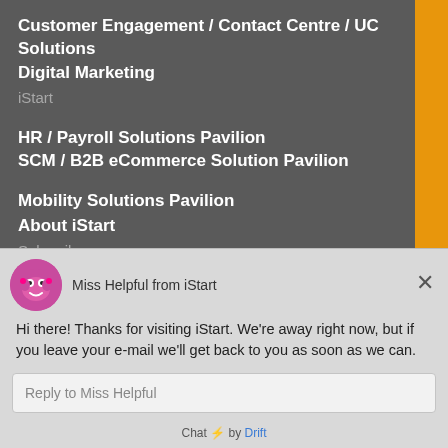Customer Engagement / Contact Centre / UC Solutions
Digital Marketing
iStart
HR / Payroll Solutions Pavilion
SCM / B2B eCommerce Solution Pavilion
Mobility Solutions Pavilion
About iStart
Subscribe
Advertise with iStart
Become a supporter
Contact
Privacy policy
+64 9 623 1480
0800 928 268 (NZ)
1800 462 388 (AU)
[Figure (screenshot): Chat widget overlay from Miss Helpful at iStart, showing a chatbot message and reply input field, powered by Drift.]